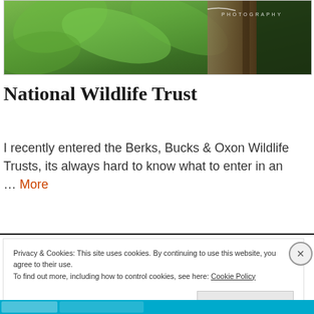[Figure (photo): Photograph showing green maple leaves with wooden fence/post elements in the background, with 'PHOTOGRAPHY' text watermark overlay in top right]
National Wildlife Trust
I recently entered the Berks, Bucks & Oxon Wildlife Trusts, its always hard to know what to enter in an … More
Privacy & Cookies: This site uses cookies. By continuing to use this website, you agree to their use.
To find out more, including how to control cookies, see here: Cookie Policy
Close and accept